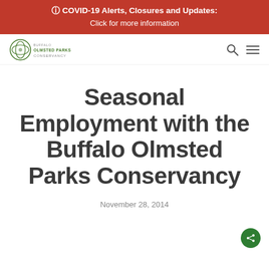ⓘ COVID-19 Alerts, Closures and Updates: Click for more information
[Figure (logo): Buffalo Olmsted Parks Conservancy logo with leaf/butterfly icon and organization name]
Seasonal Employment with the Buffalo Olmsted Parks Conservancy
November 28, 2014